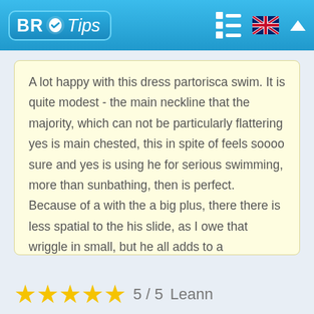BR Tips
A lot happy with this dress partorisca swim. It is quite modest - the main neckline that the majority, which can not be particularly flattering yes is main chested, this in spite of feels soooo sure and yes is using he for serious swimming, more than sunbathing, then is perfect. Because of a with the a big plus, there there is less spatial to the his slide, as I owe that wriggle in small, but he all adds to a consolation and support when I am swimming. Very pleased!
5 / 5   Leann